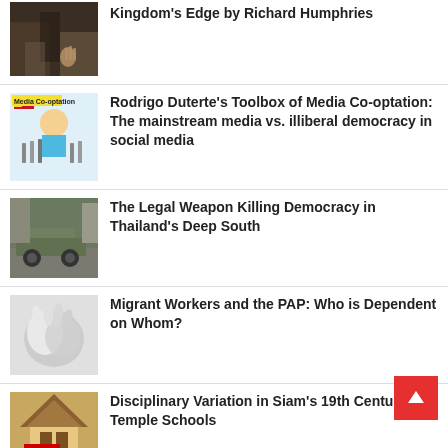Kingdom's Edge by Richard Humphries
[Figure (photo): Dark image of military/conflict scene with a hand visible]
Rodrigo Duterte's Toolbox of Media Co-optation: The mainstream media vs. illiberal democracy in social media
[Figure (illustration): Cartoon illustration labeled 'Media Co-optation' with Philippine flag and microphones]
The Legal Weapon Killing Democracy in Thailand's Deep South
[Figure (photo): Military vehicle / armored car on a street]
Migrant Workers and the PAP: Who is Dependent on Whom?
[Figure (photo): Black and white photo showing hands/gloves]
Disciplinary Variation in Siam's 19th Century Temple Schools
[Figure (photo): Temple building with a DISCIPLINE sign in front]